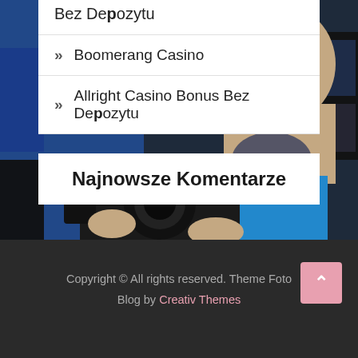[Figure (photo): Background photo of a man in a blue shirt holding a camera/video equipment in a studio with blue lighting and monitors visible]
Bez Depozytu
» Boomerang Casino
» Allright Casino Bonus Bez Depozytu
Najnowsze Komentarze
Copyright © All rights reserved. Theme Foto Blog by Creativ Themes